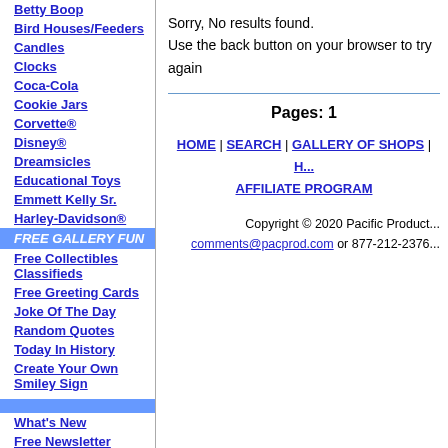Betty Boop
Bird Houses/Feeders
Candles
Clocks
Coca-Cola
Cookie Jars
Corvette®
Disney®
Dreamsicles
Educational Toys
Emmett Kelly Sr.
Harley-Davidson®
FREE GALLERY FUN
Free Collectibles Classifieds
Free Greeting Cards
Joke Of The Day
Random Quotes
Today In History
Create Your Own Smiley Sign
What's New
Free Newsletter
Sign Our Guestbook
Contact Us
FAQ
Security
Our Privacy Policy
Sorry, No results found.
Use the back button on your browser to try again
Pages: 1
HOME | SEARCH | GALLERY OF SHOPS | H... AFFILIATE PROGRAM
Copyright © 2020 Pacific Product... comments@pacprod.com or 877-212-2376...